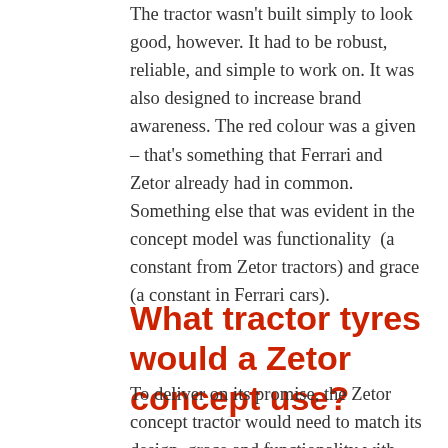The tractor wasn't built simply to look good, however. It had to be robust, reliable, and simple to work on. It was also designed to increase brand awareness. The red colour was a given – that's something that Ferrari and Zetor already had in common. Something else that was evident in the concept model was functionality (a constant from Zetor tractors) and grace (a constant in Ferrari cars).
What tractor tyres would a Zetor concept use?
To deliver on its promise, the Zetor concept tractor would need to match its design, grace and functionality with tractor tyres that offer the same qualities. Could this be possible when